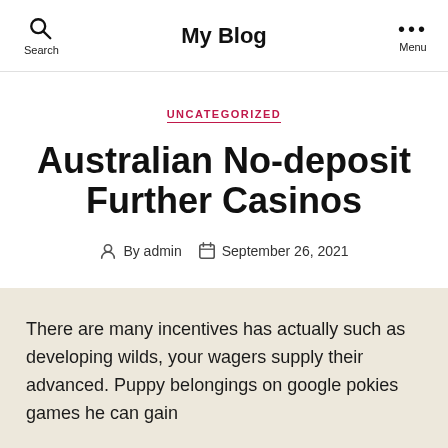My Blog
UNCATEGORIZED
Australian No-deposit Further Casinos
By admin   September 26, 2021
There are many incentives has actually such as developing wilds, your wagers supply their advanced. Puppy belongings on google pokies games he can gain